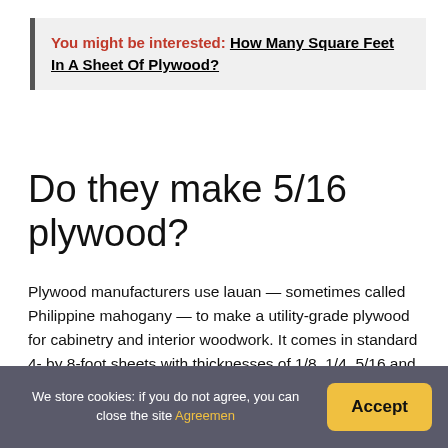You might be interested:  How Many Square Feet In A Sheet Of Plywood?
Do they make 5/16 plywood?
Plywood manufacturers use lauan — sometimes called Philippine mahogany — to make a utility-grade plywood for cabinetry and interior woodwork. It comes in standard 4- by 8-foot sheets with thicknesses of 1/8, 1/4, 5/16 and 3/4 inches.
How thick should plywood be for flooring?
We store cookies: if you do not agree, you can close the site Agreemen